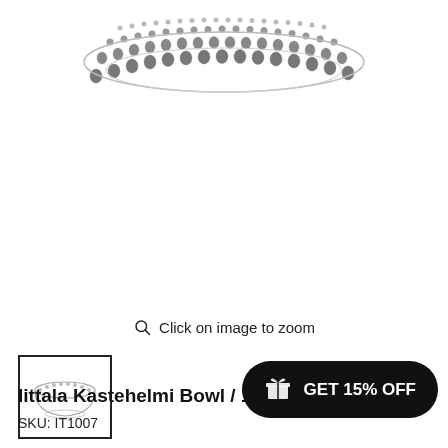[Figure (photo): Top-down partial view of an iittala Kastehelmi bowl showing decorative beaded rim pattern in clear glass, photographed from above against white background]
Click on image to zoom
[Figure (photo): Small thumbnail image of iittala Kastehelmi bowl shown from a side angle, clear glass with beaded texture]
iittala Kastehelmi Bowl / 1400
SKU: IT1007
GET 15% OFF